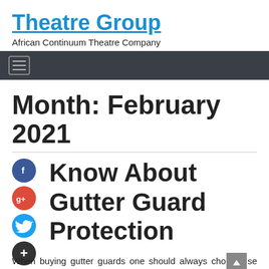Theatre Group
African Continuum Theatre Company
[Figure (other): Navigation bar with hamburger menu icon on dark background]
Month: February 2021
[Figure (other): Social sharing icons: Facebook (blue circle with f), Google+ (red circle with g+), Twitter (blue circle with bird), Add/Plus (dark circle with +)]
Know About Gutter Guard Protection
When buying gutter guards one should always choose long lasting gutter guards that deliver for a long time.